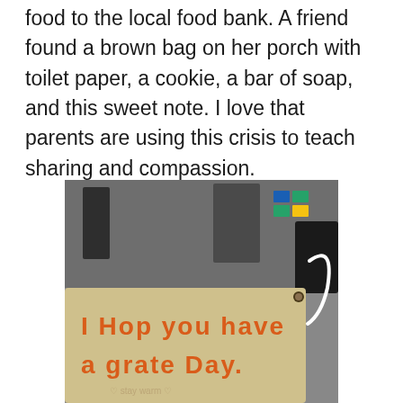food to the local food bank. A friend found a brown bag on her porch with toilet paper, a cookie, a bar of soap, and this sweet note. I love that parents are using this crisis to teach sharing and compassion.
[Figure (photo): Photo of a brown paper bag tag/note written in orange marker by a child reading: 'I Hop you have a grate Day.' Background shows a kitchen or entryway scene with appliances and a logo sticker.]